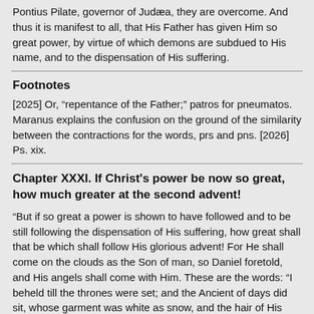Pontius Pilate, governor of Judaea, they are overcome. And thus it is manifest to all, that His Father has given Him so great power, by virtue of which demons are subdued to His name, and to the dispensation of His suffering.
Footnotes
[2025] Or, "repentance of the Father;" patros for pneumatos. Maranus explains the confusion on the ground of the similarity between the contractions for the words, prs and pns. [2026] Ps. xix.
Chapter XXXI. If Christ's power be now so great, how much greater at the second advent!
"But if so great a power is shown to have followed and to be still following the dispensation of His suffering, how great shall that be which shall follow His glorious advent! For He shall come on the clouds as the Son of man, so Daniel foretold, and His angels shall come with Him. These are the words: "I beheld till the thrones were set; and the Ancient of days did sit, whose garment was white as snow, and the hair of His head like the pure wool. His throne was like a fiery